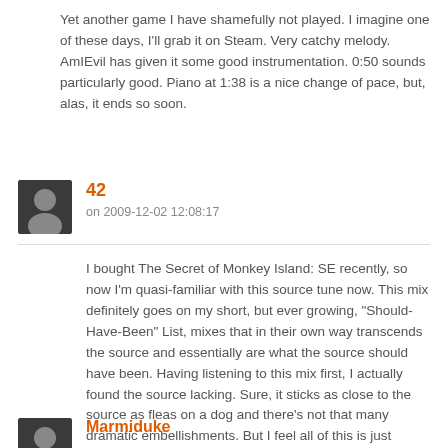Yet another game I have shamefully not played. I imagine one of these days, I'll grab it on Steam. Very catchy melody. AmIEvil has given it some good instrumentation. 0:50 sounds particularly good. Piano at 1:38 is a nice change of pace, but, alas, it ends so soon.
42
on 2009-12-02 12:08:17
I bought The Secret of Monkey Island: SE recently, so now I'm quasi-familiar with this source tune now. This mix definitely goes on my short, but ever growing, "Should-Have-Been" List, mixes that in their own way transcends the source and essentially are what the source should have been. Having listening to this mix first, I actually found the source lacking. Sure, it sticks as close to the source as fleas on a dog and there's not that many dramatic embellishments. But I feel all of this is just appropriate. My only other complaint is that it's too short. 😀
Marmiduke